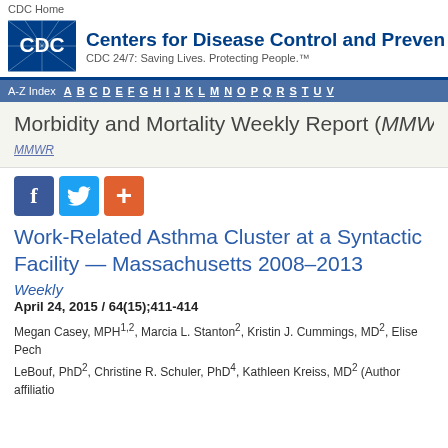CDC Home
[Figure (logo): CDC logo with blue background and white CDC text, alongside 'Centers for Disease Control and Prevention' title and tagline 'CDC 24/7: Saving Lives. Protecting People.™']
A-Z Index A B C D E F G H I J K L M N O P Q R S T U V
Morbidity and Mortality Weekly Report (MMWR)
MMWR
Social share buttons: Facebook, Twitter, Google+
Work-Related Asthma Cluster at a Syntactic Facility — Massachusetts 2008–2013
Weekly
April 24, 2015 / 64(15);411-414
Megan Casey, MPH1,2, Marcia L. Stanton2, Kristin J. Cummings, MD2, Elise Pech LeBοuf, PhD2, Christine R. Schuler, PhD4, Kathleen Kreiss, MD2 (Author affiliations)